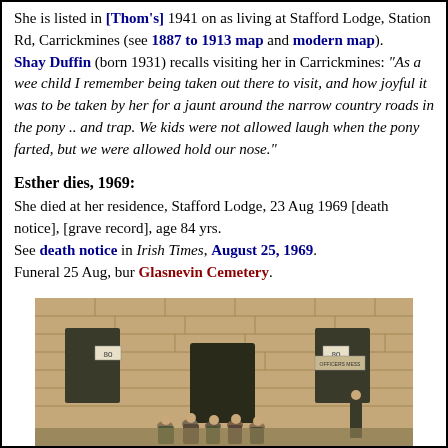She is listed in [Thom's] 1941 on as living at Stafford Lodge, Station Rd, Carrickmines (see 1887 to 1913 map and modern map).
Shay Duffin (born 1931) recalls visiting her in Carrickmines: "As a wee child I remember being taken out there to visit, and how joyful it was to be taken by her for a jaunt around the narrow country roads in the pony .. and trap. We kids were not allowed laugh when the pony farted, but we were allowed hold our nose."
Esther dies, 1969:
She died at her residence, Stafford Lodge, 23 Aug 1969 [death notice], [grave record], age 84 yrs.
See death notice in Irish Times, August 25, 1969.
Funeral 25 Aug, bur Glasnevin Cemetery.
[Figure (photo): Photograph of a stone building exterior with people in vintage military/period clothing standing outside. Two numbered plaques (80) visible on the stone wall.]